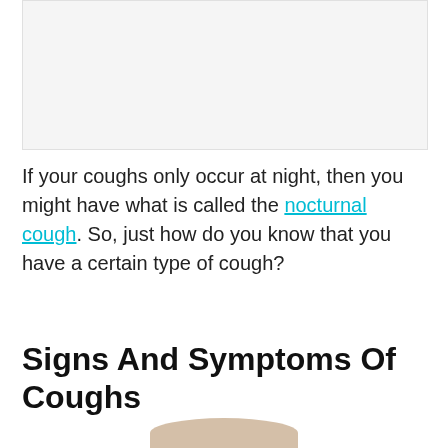[Figure (photo): Image placeholder at the top of the page, appears to be cropped or blank white/light gray area]
If your coughs only occur at night, then you might have what is called the nocturnal cough. So, just how do you know that you have a certain type of cough?
Signs And Symptoms Of Coughs
[Figure (photo): Bottom portion of a photo showing the top of a person's head with gray/white hair]